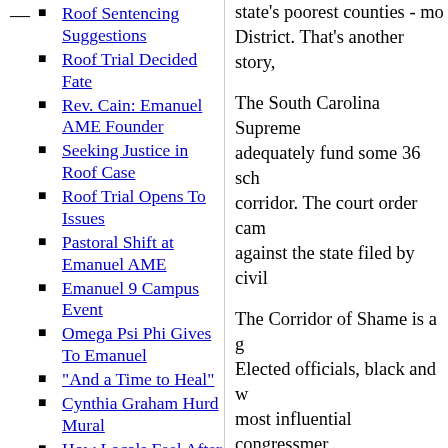Roof Sentencing Suggestions
Roof Trial Decided Fate
Rev. Cain: Emanuel AME Founder
Seeking Justice in Roof Case
Roof Trial Opens To Issues
Pastoral Shift at Emanuel AME
Emanuel 9 Campus Event
Omega Psi Phi Gives To Emanuel
"And a Time to Heal"
Cynthia Graham Hurd Mural
How Locals Feel After Emanuel
CHS One Year After Emanuel
"After Charleston
state's poorest counties - mos District. That's another story,
The South Carolina Supreme adequately fund some 36 sch corridor. The court order cam against the state filed by civil
The Corridor of Shame is a g Elected officials, black and w most influential congressmen the neglect of the needs of th
The news report I recently re a game in responding to the c missed two deadlines to com of Shame - one earlier this ye the latest at the June end of th forking over a few measly do
I asked some black legislator funding, but the Republicans
What was the excuse as Dem before the Republicans took